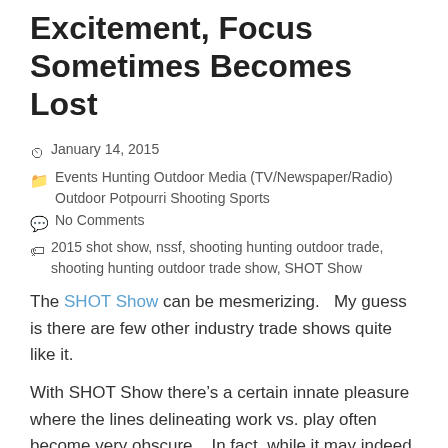Excitement, Focus Sometimes Becomes Lost
January 14, 2015
Events Hunting Outdoor Media (TV/Newspaper/Radio) Outdoor Potpourri Shooting Sports
No Comments
2015 shot show, nssf, shooting hunting outdoor trade, shooting hunting outdoor trade show, SHOT Show
The SHOT Show can be mesmerizing.   My guess is there are few other industry trade shows quite like it.
With SHOT Show there's a certain innate pleasure where the lines delineating work vs. play often become very obscure.   In fact, while it may indeed be a job to sell guns for a living out of a small retail shop, if one's passion is truly into shooting how can that even be considered work.  There's simply no hiding the